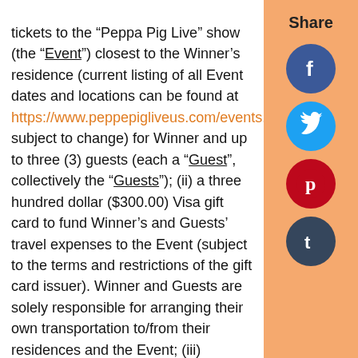tickets to the "Peppa Pig Live" show (the "Event") closest to the Winner's residence (current listing of all Event dates and locations can be found at https://www.peppepigliveus.com/events, subject to change) for Winner and up to three (3) guests (each a "Guest", collectively the "Guests"); (ii) a three hundred dollar ($300.00) Visa gift card to fund Winner's and Guests' travel expenses to the Event (subject to the terms and restrictions of the gift card issuer). Winner and Guests are solely responsible for arranging their own transportation to/from their residences and the Event; (iii) exclusive access to the Peppa Pig party after the Event, including access to healthy snacks and water (while supplies last); (iv) meet and greet opportunity with the Event cast on the pink
[Figure (infographic): Social share sidebar with Share label and four circular icons: Facebook (blue), Twitter (light blue), Pinterest (dark red), Tumblr (dark navy)]